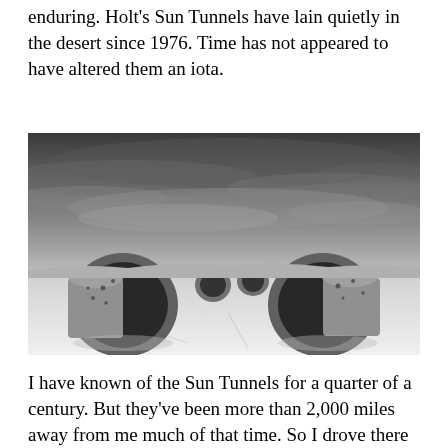enduring. Holt's Sun Tunnels have lain quietly in the desert since 1976. Time has not appeared to have altered them an iota.
[Figure (photo): Black and white photograph of Nancy Holt's Sun Tunnels land art installation in the Utah desert. Large concrete cylindrical tubes lie on a flat, cracked desert floor under a dramatic cloudy sky. Two large tubes are in the foreground, with smaller ones visible in the middle distance.]
I have known of the Sun Tunnels for a quarter of a century. But they've been more than 2,000 miles away from me much of that time. So I drove there this summer. The last 11.5 miles taxed both me and my pickup. (Then again, I